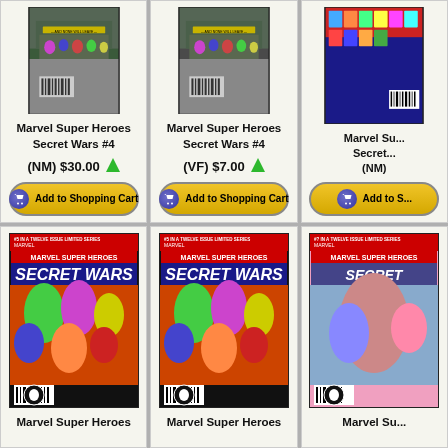[Figure (illustration): Comic book cover for Marvel Super Heroes Secret Wars #4 (NM grade)]
Marvel Super Heroes Secret Wars #4
(NM) $30.00
Add to Shopping Cart
[Figure (illustration): Comic book cover for Marvel Super Heroes Secret Wars #4 (VF grade)]
Marvel Super Heroes Secret Wars #4
(VF) $7.00
Add to Shopping Cart
[Figure (illustration): Comic book cover for Marvel Super Heroes Secret Wars (NM grade, partial)]
Marvel Su... Secret... (NM)
Add to S...
[Figure (illustration): Comic book cover for Marvel Super Heroes Secret Wars #5 variant A]
Marvel Super Heroes
[Figure (illustration): Comic book cover for Marvel Super Heroes Secret Wars #5 variant B]
Marvel Super Heroes
[Figure (illustration): Comic book cover for Marvel Super Heroes Secret Wars (partial, right column)]
Marvel Su